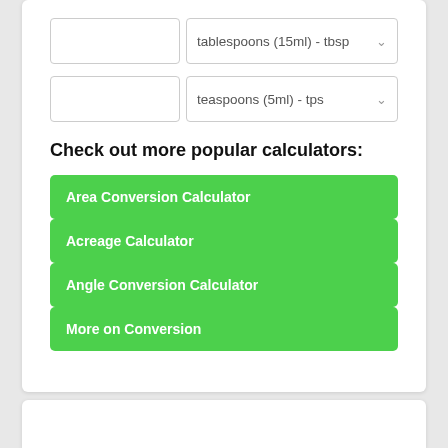[Figure (screenshot): Input row with empty text box and dropdown showing 'tablespoons (15ml) - tbsp']
[Figure (screenshot): Input row with empty text box and dropdown showing 'teaspoons (5ml) - tps']
Check out more popular calculators:
Area Conversion Calculator
Acreage Calculator
Angle Conversion Calculator
More on Conversion